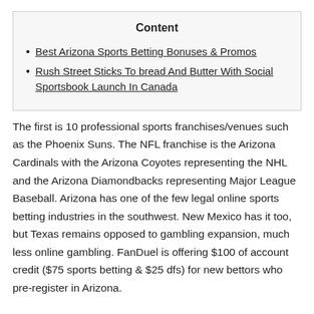Content
Best Arizona Sports Betting Bonuses & Promos
Rush Street Sticks To bread And Butter With Social Sportsbook Launch In Canada
The first is 10 professional sports franchises/venues such as the Phoenix Suns. The NFL franchise is the Arizona Cardinals with the Arizona Coyotes representing the NHL and the Arizona Diamondbacks representing Major League Baseball. Arizona has one of the few legal online sports betting industries in the southwest. New Mexico has it too, but Texas remains opposed to gambling expansion, much less online gambling. FanDuel is offering $100 of account credit ($75 sports betting & $25 dfs) for new bettors who pre-register in Arizona.